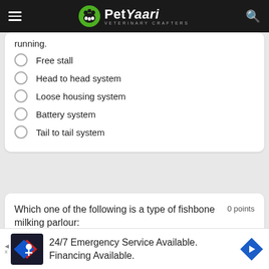PetYaari - Veterinary Crafters
running.
Free stall
Head to head system
Loose housing system
Battery system
Tail to tail system
Which one of the following is a type of fishbone milking parlour:
0 points
24/7 Emergency Service Available. Financing Available.